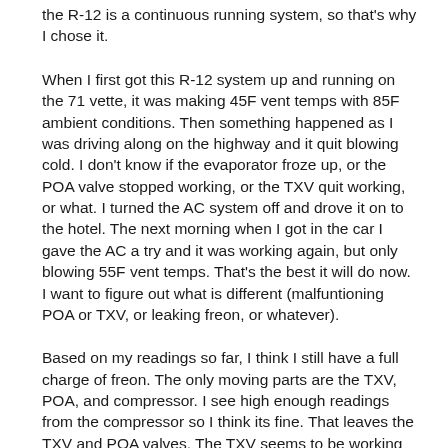the R-12 is a continuous running system, so that's why I chose it.
When I first got this R-12 system up and running on the 71 vette, it was making 45F vent temps with 85F ambient conditions. Then something happened as I was driving along on the highway and it quit blowing cold. I don't know if the evaporator froze up, or the POA valve stopped working, or the TXV quit working, or what. I turned the AC system off and drove it on to the hotel. The next morning when I got in the car I gave the AC a try and it was working again, but only blowing 55F vent temps. That's the best it will do now. I want to figure out what is different (malfuntioning POA or TXV, or leaking freon, or whatever).
Based on my readings so far, I think I still have a full charge of freon. The only moving parts are the TXV, POA, and compressor. I see high enough readings from the compressor so I think its fine. That leaves the TXV and POA valves. The TXV seems to be working based on yesterdays tests. That leaves me thinking its the POA. I tested it with air before putting the system in service and it was giving me the correct outlet pressure of 30psi. I think either some trash was left in